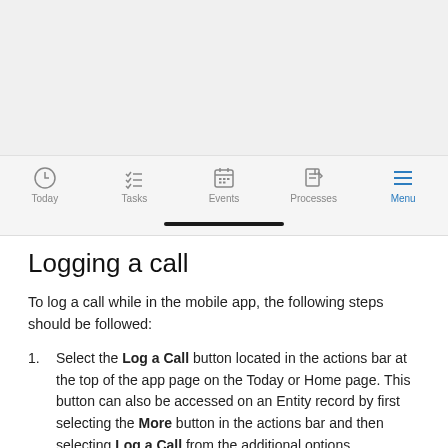[Figure (screenshot): Mobile app bottom navigation bar showing: Today (clock icon), Tasks (checklist icon), Events (calendar icon), Processes (document icon), Menu (hamburger icon, highlighted in blue). A black home indicator bar is visible at the bottom.]
Logging a call
To log a call while in the mobile app, the following steps should be followed:
Select the Log a Call button located in the actions bar at the top of the app page on the Today or Home page. This button can also be accessed on an Entity record by first selecting the More button in the actions bar and then selecting Log a Call from the additional options.